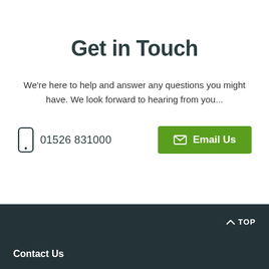Get in Touch
We're here to help and answer any questions you might have. We look forward to hearing from you...
01526 831000
Email Us
TOP
Contact Us